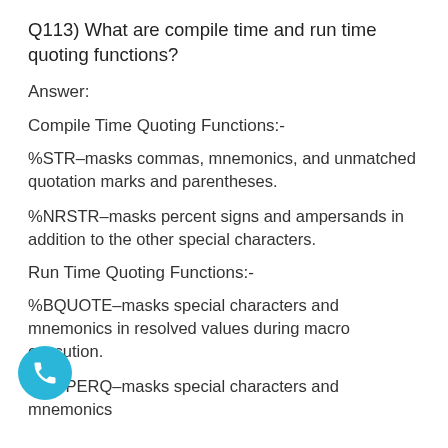Q113) What are compile time and run time quoting functions?
Answer:
Compile Time Quoting Functions:-
%STR–masks commas, mnemonics, and unmatched quotation marks and parentheses.
%NRSTR–masks percent signs and ampersands in addition to the other special characters.
Run Time Quoting Functions:-
%BQUOTE–masks special characters and mnemonics in resolved values during macro execution.
%SUPERQ–masks special characters and mnemonics